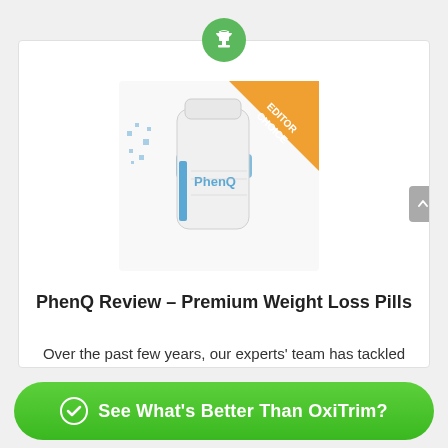[Figure (illustration): Green circle with white trophy/cup icon at the top center of the card]
[Figure (photo): PhenQ supplement bottle with blue medical cross graphic and orange diagonal 'EDITOR CHOICE' banner ribbon in the top-right corner]
PhenQ Review – Premium Weight Loss Pills
Over the past few years, our experts' team has tackled more than 400 premium weight loss supplements, and the one ...
See What's Better Than OxiTrim?